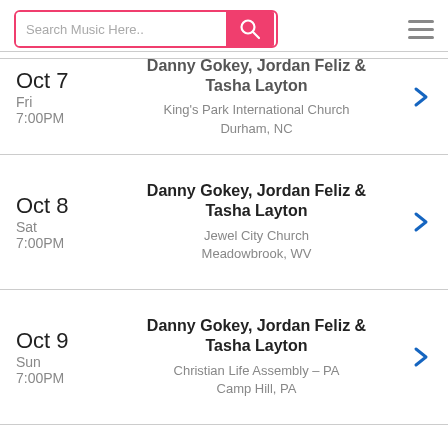Search Music Here..
Oct 7 Fri 7:00PM | Danny Gokey, Jordan Feliz & Tasha Layton | King's Park International Church, Durham, NC
Oct 8 Sat 7:00PM | Danny Gokey, Jordan Feliz & Tasha Layton | Jewel City Church, Meadowbrook, WV
Oct 9 Sun 7:00PM | Danny Gokey, Jordan Feliz & Tasha Layton | Christian Life Assembly – PA, Camp Hill, PA